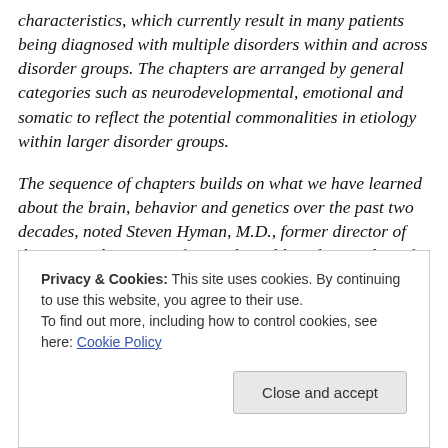characteristics, which currently result in many patients being diagnosed with multiple disorders within and across disorder groups. The chapters are arranged by general categories such as neurodevelopmental, emotional and somatic to reflect the potential commonalities in etiology within larger disorder groups.

The sequence of chapters builds on what we have learned about the brain, behavior and genetics over the past two decades, noted Steven Hyman, M.D., former director of the National Institute of Mental Health and a member of the DSM-5 Task Force.
Privacy & Cookies: This site uses cookies. By continuing to use this website, you agree to their use.
To find out more, including how to control cookies, see here: Cookie Policy